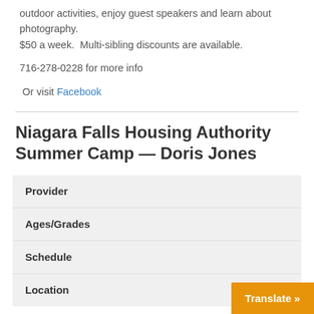outdoor activities, enjoy guest speakers and learn about photography. $50 a week.  Multi-sibling discounts are available.
716-278-0228 for more info
Or visit Facebook
Niagara Falls Housing Authority Summer Camp — Doris Jones
| Field | Value |
| --- | --- |
| Provider |  |
| Ages/Grades |  |
| Schedule |  |
| Location |  |